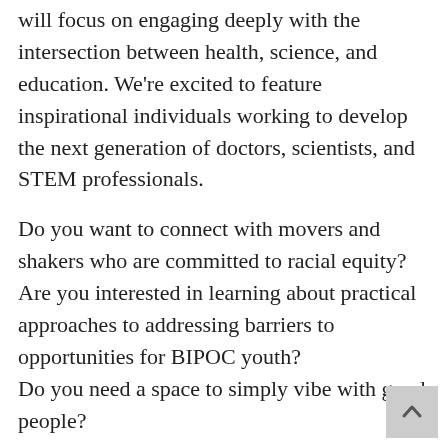will focus on engaging deeply with the intersection between health, science, and education. We're excited to feature inspirational individuals working to develop the next generation of doctors, scientists, and STEM professionals.
Do you want to connect with movers and shakers who are committed to racial equity? Are you interested in learning about practical approaches to addressing barriers to opportunities for BIPOC youth?
Do you need a space to simply vibe with good people?
Join us on March 24th!
Our meetups provide a space where you can do all of the above. We convene BIPOC